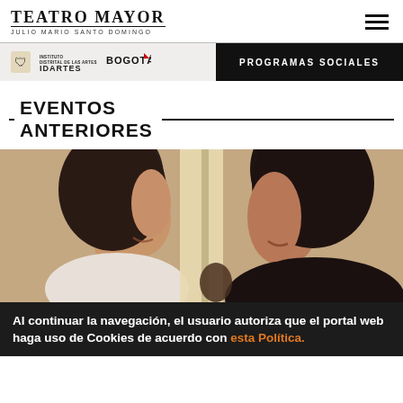Teatro Mayor Julio Mario Santo Domingo
PROGRAMAS SOCIALES
EVENTOS ANTERIORES
[Figure (photo): Two women smiling and facing each other in a bright indoor setting]
Al continuar la navegación, el usuario autoriza que el portal web haga uso de Cookies de acuerdo con esta Política.